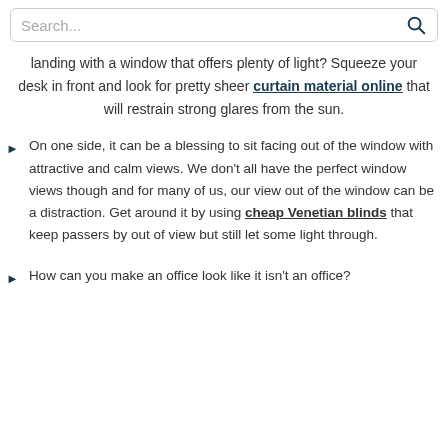Search...
landing with a window that offers plenty of light? Squeeze your desk in front and look for pretty sheer curtain material online that will restrain strong glares from the sun.
On one side, it can be a blessing to sit facing out of the window with attractive and calm views. We don't all have the perfect window views though and for many of us, our view out of the window can be a distraction. Get around it by using cheap Venetian blinds that keep passers by out of view but still let some light through.
How can you make an office look like it isn't an office?